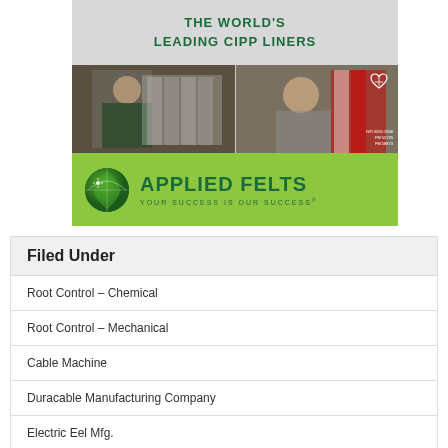[Figure (illustration): Applied Felts advertisement for CIPP liners. Top section shows 'THE WORLD'S LEADING CIPP LINERS' in green text on a gray textured background. Middle section has two photos of workers handling materials. Bottom green section shows the Applied Felts globe logo, company name 'APPLIED FELTS', and tagline 'YOUR SUCCESS IS OUR SUCCESS'.]
Filed Under
Root Control – Chemical
Root Control – Mechanical
Cable Machine
Duracable Manufacturing Company
Electric Eel Mfg.